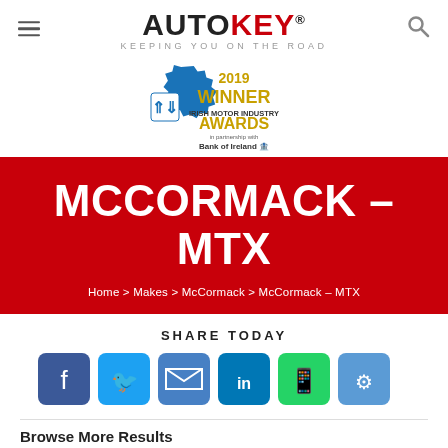AUTOKEY® — Keeping you on the road
[Figure (logo): 2019 Winner Irish Motor Industry Awards in partnership with Bank of Ireland — SIMI gear-shaped badge logo]
MCCORMACK – MTX
Home > Makes > McCormack > McCormack – MTX
SHARE TODAY
[Figure (infographic): Row of six social share icon buttons: Facebook, Twitter, Email, LinkedIn, WhatsApp, Link]
Browse More Results